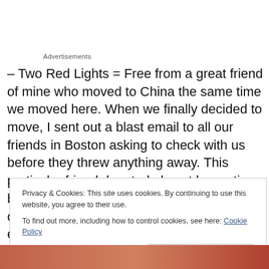Advertisements
– Two Red Lights = Free from a great friend of mine who moved to China the same time we moved here. When we finally decided to move, I sent out a blast email to all our friends in Boston asking to check with us before they threw anything away. This particular friend donated almost her entire bedroom. Her stuff is scattered throughout our apartment. They're plastic too which is extra cool
Privacy & Cookies: This site uses cookies. By continuing to use this website, you agree to their use.
To find out more, including how to control cookies, see here: Cookie Policy
Close and accept
[Figure (photo): Bottom strip of a reddish-orange toned photo, partially visible]